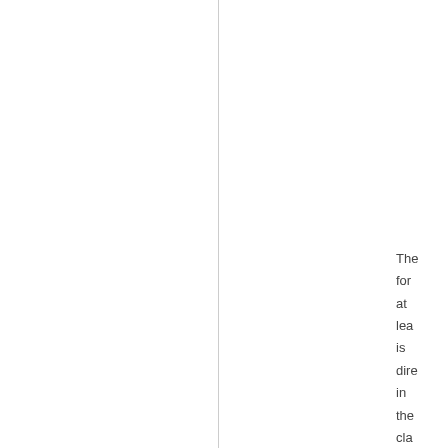The form at least is dire in the cla but the latt lac cla in- thr (or per in-